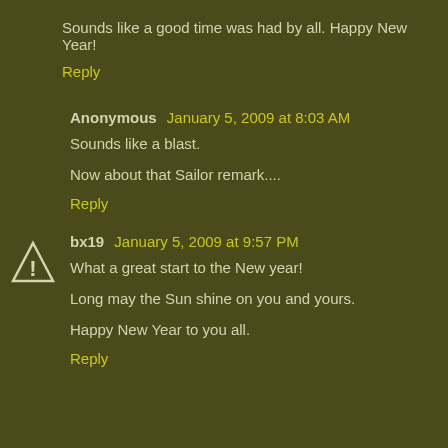Sounds like a good time was had by all. Happy New Year!
Reply
Anonymous January 5, 2009 at 8:03 AM
Sounds like a blast.
Now about that Sailor remark....
Reply
bx19 January 5, 2009 at 9:57 PM
What a great start to the New year!
Long may the Sun shine on you and yours.
Happy New Year to you all.
Reply